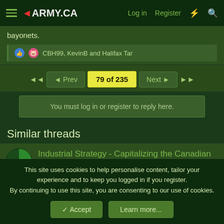4ARMY.CA  Log in  Register
bayonets.
CBH99, KevinB and Halifax Tar
◄◄  ◄ Prev  79 of 235  Next ►  ►►
You must log in or register to reply here.
Similar threads
Industrial Strategy - Capitalizing the Canadian Forces
Kirkhill · Equipment - General
Replies: 47 · 20 Dec 2021
This site uses cookies to help personalise content, tailor your experience and to keep you logged in if you register.
By continuing to use this site, you are consenting to our use of cookies.
✓ Accept  Learn more...